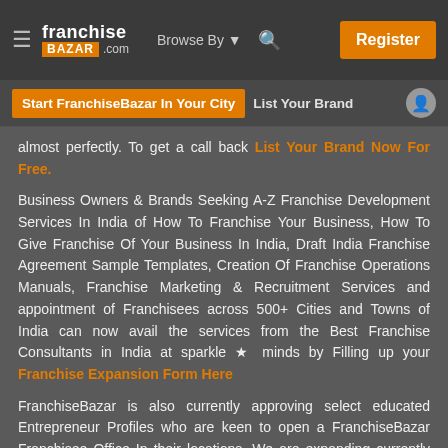franchise BAZAR .com | Browse By | Register
Start FranchiseBazar In Your City | List Your Brand
almost perfectly. To get a call back List Your Brand Now For Free.
Business Owners & Brands Seeking A-Z Franchise Development Services In India of How To Franchise Your Business, How To Give Franchise Of Your Business In India, Draft India Franchise Agreement Sample Templates, Creation Of Franchise Operations Manuals, Franchise Marketing & Recruitment Services and appointment of Franchisees across 500+ Cities and Towns of India can now avail the services from the Best Franchise Consultants in India at sparkle ★ minds by Filling up your Franchise Expansion Form Here
FranchiseBazar is also currently approving select educated Entrepreneur Profiles who are keen to open a FranchiseBazar Franchisee Office In their locations. We are expanding currently across all major cities of India as we seek Business Brokers who are confident of guiding Business Buyers to the right opportunities. We work with some of the most promising brands, have entrepreneurs reaching out to us from your city and need somebody local who...